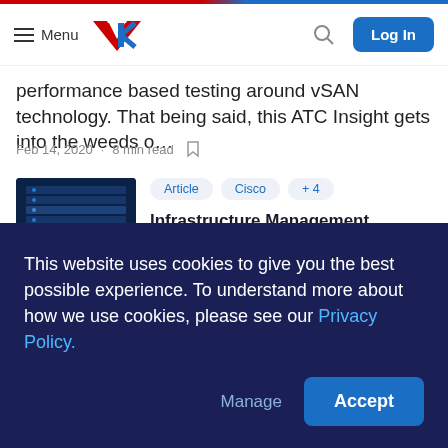Menu | Logo | Search | Log In
performance based testing around vSAN technology. That being said, this ATC Insight gets into the weeds o…
Feb 14, 2020 · 8 min read
[Figure (photo): Server room with blue lighting, rows of servers]
Article   Cisco   + 4
Infrastructure Management Solutions: Server Profiles and Templates
This website uses cookies to give you the best possible experience. To understand more about how we use cookies, please see our Privacy Policy.